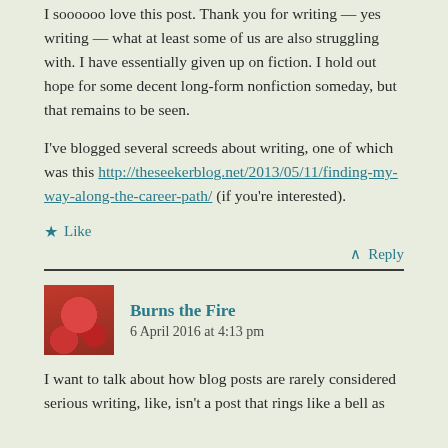I soooooo love this post. Thank you for writing — yes writing — what at least some of us are also struggling with. I have essentially given up on fiction. I hold out hope for some decent long-form nonfiction someday, but that remains to be seen.
I've blogged several screeds about writing, one of which was this http://theseekerblog.net/2013/05/11/finding-my-way-along-the-career-path/ (if you're interested).
★ Like
↑ Reply
Burns the Fire
6 April 2016 at 4:13 pm
I want to talk about how blog posts are rarely considered serious writing, like, isn't a post that rings like a bell as